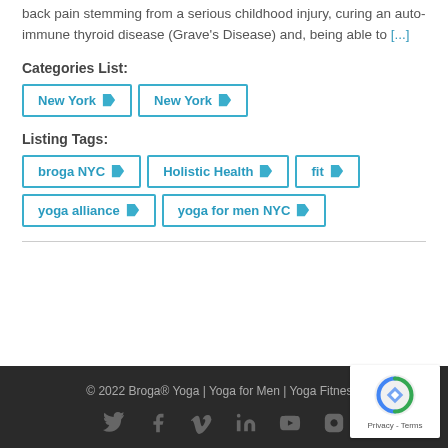back pain stemming from a serious childhood injury, curing an auto-immune thyroid disease (Grave's Disease) and, being able to [...]
Categories List:
New York
New York
Listing Tags:
broga NYC
Holistic Health
fit
yoga alliance
yoga for men NYC
© 2022 Broga® Yoga | Yoga for Men | Yoga Fitness.